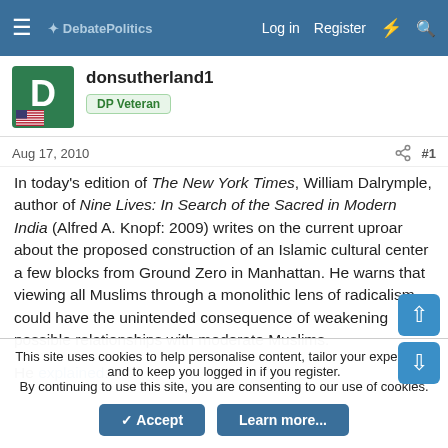DebatePolitics — Log in  Register
donsutherland1
DP Veteran
Aug 17, 2010  #1
In today's edition of The New York Times, William Dalrymple, author of Nine Lives: In Search of the Sacred in Modern India (Alfred A. Knopf: 2009) writes on the current uproar about the proposed construction of an Islamic cultural center a few blocks from Ground Zero in Manhattan. He warns that viewing all Muslims through a monolithic lens of radicalism could have the unintended consequence of weakening possible relationships with moderate Muslims.

He explained:
This site uses cookies to help personalise content, tailor your experience and to keep you logged in if you register.
By continuing to use this site, you are consenting to our use of cookies.
Accept  Learn more...